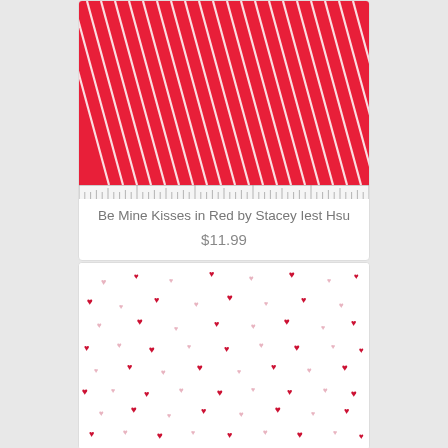[Figure (photo): Red fabric with diagonal white pinstripes, with a ruler/measurement strip at the bottom]
Be Mine Kisses in Red by Stacey Iest Hsu
$11.99
[Figure (photo): White fabric with scattered small red and pink heart shapes in various sizes]